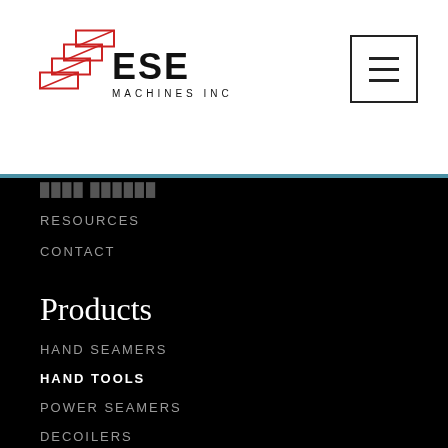[Figure (logo): ESE Machines Inc logo with stylized Z/machine graphic in red and black]
[Figure (other): Hamburger menu button icon with three horizontal lines]
RESOURCES
CONTACT
Products
HAND SEAMERS
HAND TOOLS
POWER SEAMERS
DECOILERS
CLEATS